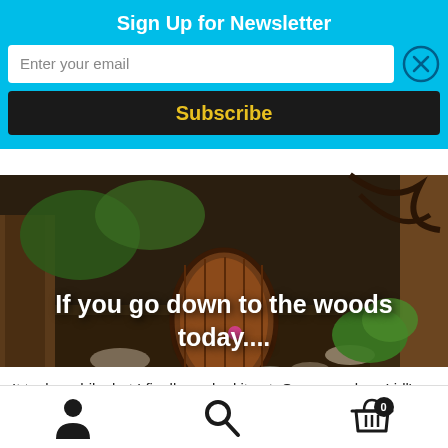Sign Up for Newsletter
Enter your email
Subscribe
[Figure (photo): A fairy-door style wooden door set into a tree stump in a woodland setting, surrounded by leaves and stones, with the text overlay 'If you go down to the woods today....']
If you go down to the woods today....
It took a while, but I finally worked it out. On sunny days Lidl's car park in Dungloe is pretty full but the shop is quite empty. Just